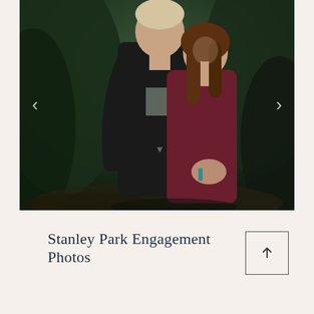[Figure (photo): An engaged couple posing together in a forested setting (Stanley Park). A tall man in a black sweatshirt stands behind a smiling woman in a burgundy top, holding her hands. Navigation arrows are visible on left and right sides of the image.]
Stanley Park Engagement Photos